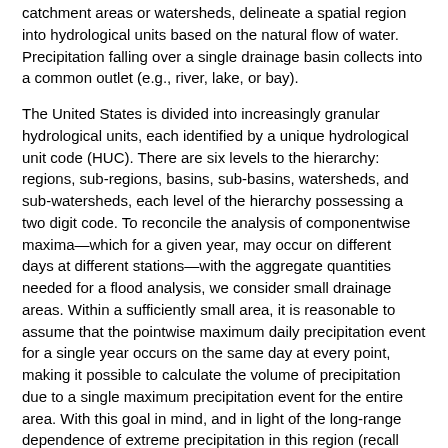catchment areas or watersheds, delineate a spatial region into hydrological units based on the natural flow of water. Precipitation falling over a single drainage basin collects into a common outlet (e.g., river, lake, or bay).
The United States is divided into increasingly granular hydrological units, each identified by a unique hydrological unit code (HUC). There are six levels to the hierarchy: regions, sub-regions, basins, sub-basins, watersheds, and sub-watersheds, each level of the hierarchy possessing a two digit code. To reconcile the analysis of componentwise maxima—which for a given year, may occur on different days at different stations—with the aggregate quantities needed for a flood analysis, we consider small drainage areas. Within a sufficiently small area, it is reasonable to assume that the pointwise maximum daily precipitation event for a single year occurs on the same day at every point, making it possible to calculate the volume of precipitation due to a single maximum precipitation event for the entire area. With this goal in mind, and in light of the long-range dependence of extreme precipitation in this region (recall Figure 5), we consider the basin (HUC6) and sub-basin (HUC8) resolutions. A majority of stations in the sub-basin had their annual maximum event on the same day of the year in over 60% of the sub-basin area in a given year.